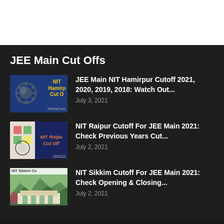JEE Main Cut Offs
[Figure (photo): NIT Hamirpur thumbnail with blue background, gear logo and yellow NIT Hamirpur Cut Off text]
JEE Main NIT Hamirpur Cutoff 2021, 2020, 2019, 2018: Watch Out...
July 3, 2021
[Figure (photo): NIT Raipur thumbnail with colorful emblem on left and dark blue background with NIT Raipur Cut Offs italic text on right]
NIT Raipur Cutoff For JEE Main 2021: Check Previous Years Cut...
July 2, 2021
[Figure (photo): NIT Sikkim thumbnail showing a building with mountains and green surroundings, NIT Sikkim Cu header text]
NIT Sikkim Cutoff For JEE Main 2021: Check Opening & Closing...
July 2, 2021